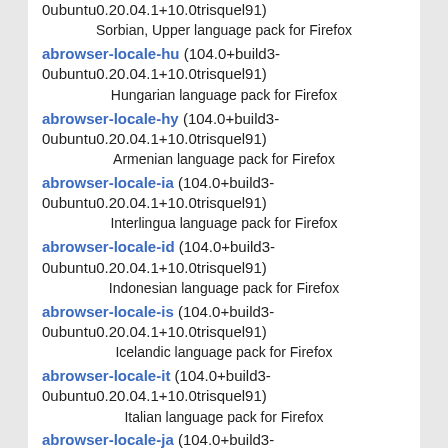0ubuntu0.20.04.1+10.0trisquel91)
Sorbian, Upper language pack for Firefox
abrowser-locale-hu (104.0+build3-0ubuntu0.20.04.1+10.0trisquel91)
Hungarian language pack for Firefox
abrowser-locale-hy (104.0+build3-0ubuntu0.20.04.1+10.0trisquel91)
Armenian language pack for Firefox
abrowser-locale-ia (104.0+build3-0ubuntu0.20.04.1+10.0trisquel91)
Interlingua language pack for Firefox
abrowser-locale-id (104.0+build3-0ubuntu0.20.04.1+10.0trisquel91)
Indonesian language pack for Firefox
abrowser-locale-is (104.0+build3-0ubuntu0.20.04.1+10.0trisquel91)
Icelandic language pack for Firefox
abrowser-locale-it (104.0+build3-0ubuntu0.20.04.1+10.0trisquel91)
Italian language pack for Firefox
abrowser-locale-ja (104.0+build3-0ubuntu0.20.04.1+10.0trisquel91)
Japanese language pack for Firefox
abrowser-locale-ka (104.0+build3-0ubuntu0.20.04.1+10.0trisquel91)
Georgian language pack for Firefox
abrowser-locale-kab (104.0+build3-